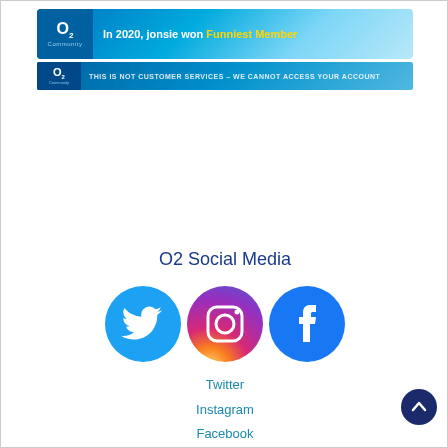[Figure (screenshot): O2 Community banner showing 'In 2020, jonsie won Funniest Member' award announcement]
[Figure (screenshot): O2 Community banner with text 'THIS IS NOT CUSTOMER SERVICES - WE CANNOT ACCESS YOUR ACCOUNT']
O2 Social Media
[Figure (illustration): Three social media icons: Twitter (blue bird), Instagram (gradient camera), Facebook (blue f)]
Twitter
Instagram
Facebook